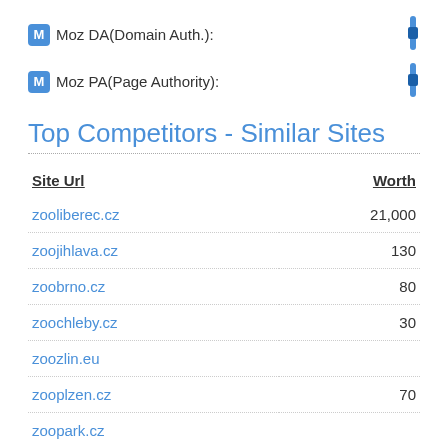Moz DA(Domain Auth.):
Moz PA(Page Authority):
Top Competitors - Similar Sites
| Site Url | Worth |
| --- | --- |
| zooliberec.cz | 21,000 |
| zoojihlava.cz | 130 |
| zoobrno.cz | 80 |
| zoochleby.cz | 30 |
| zoozlin.eu |  |
| zooplzen.cz | 70 |
| zoopark.cz |  |
| zoopraha.cz | 1,200 |